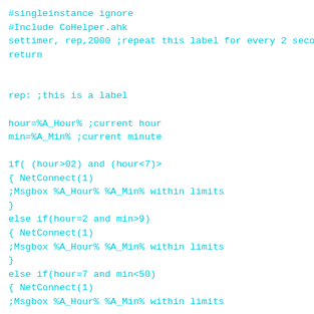#singleinstance ignore
#Include CoHelper.ahk
settimer, rep,2000 ;repeat this label for every 2 seconds
return


rep: ;this is a label

hour=%A_Hour% ;current hour
min=%A_Min% ;current minute

if( (hour>02) and (hour<7)>
{ NetConnect(1)
;Msgbox %A_Hour% %A_Min% within limits
}
else if(hour=2 and min>9)
{ NetConnect(1)
;Msgbox %A_Hour% %A_Min% within limits
}
else if(hour=7 and min<50)
{ NetConnect(1)
;Msgbox %A_Hour% %A_Min% within limits